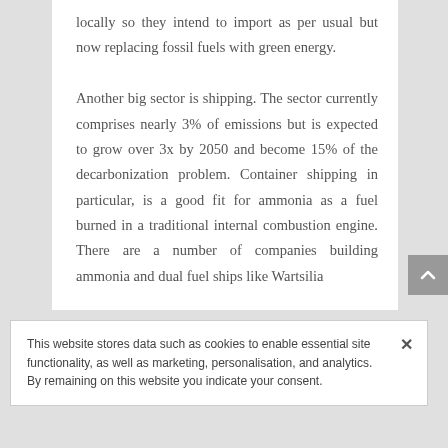locally so they intend to import as per usual but now replacing fossil fuels with green energy.

Another big sector is shipping. The sector currently comprises nearly 3% of emissions but is expected to grow over 3x by 2050 and become 15% of the decarbonization problem. Container shipping in particular, is a good fit for ammonia as a fuel burned in a traditional internal combustion engine. There are a number of companies building ammonia and dual fuel ships like Wartsilia
This website stores data such as cookies to enable essential site functionality, as well as marketing, personalisation, and analytics. By remaining on this website you indicate your consent.